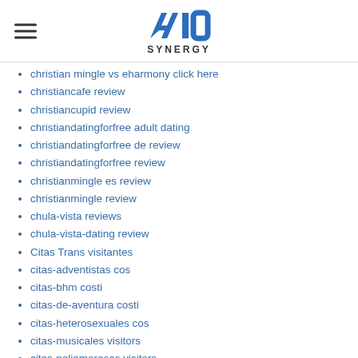AIO SYNERGY
christian mingle vs eharmony click here
christiancafe review
christiancupid review
christiandatingforfree adult dating
christiandatingforfree de review
christiandatingforfree review
christianmingle es review
christianmingle review
chula-vista reviews
chula-vista-dating review
Citas Trans visitantes
citas-adventistas cos
citas-bhm costi
citas-de-aventura costi
citas-heterosexuales cos
citas-musicales visitors
citas-poliamorosas visitors
citas-por-video costi
citas-puma costi
clarksville review